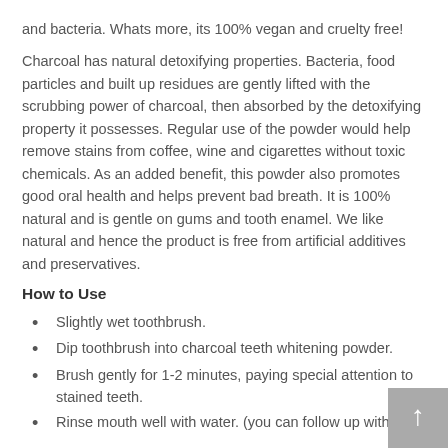and bacteria. Whats more, its 100% vegan and cruelty free!
Charcoal has natural detoxifying properties. Bacteria, food particles and built up residues are gently lifted with the scrubbing power of charcoal, then absorbed by the detoxifying property it possesses. Regular use of the powder would help remove stains from coffee, wine and cigarettes without toxic chemicals. As an added benefit, this powder also promotes good oral health and helps prevent bad breath. It is 100% natural and is gentle on gums and tooth enamel. We like natural and hence the product is free from artificial additives and preservatives.
How to Use
Slightly wet toothbrush.
Dip toothbrush into charcoal teeth whitening powder.
Brush gently for 1-2 minutes, paying special attention to stained teeth.
Rinse mouth well with water. (you can follow up with your